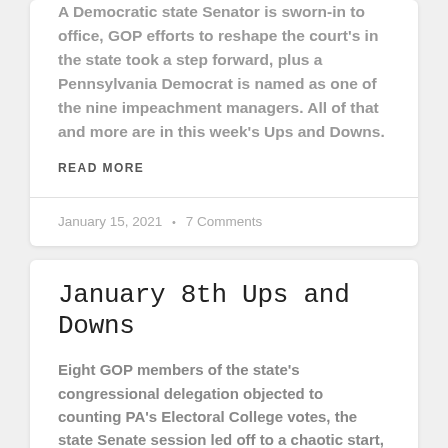A Democratic state Senator is sworn-in to office, GOP efforts to reshape the court's in the state took a step forward, plus a Pennsylvania Democrat is named as one of the nine impeachment managers. All of that and more are in this week's Ups and Downs.
READ MORE
January 15, 2021 • 7 Comments
January 8th Ups and Downs
Eight GOP members of the state's congressional delegation objected to counting PA's Electoral College votes, the state Senate session led off to a chaotic start, plus a mother and son make history in the state House. All of that and more are in this week's Ups and Downs.